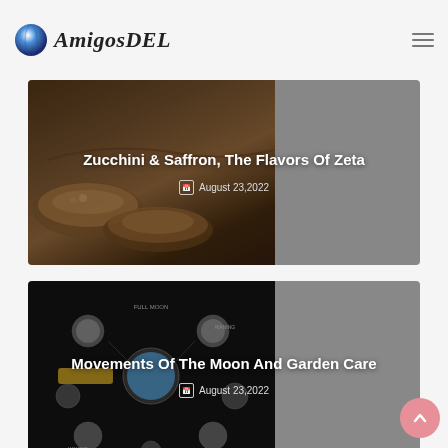AmigosDEL
[Figure (photo): Food photo showing stuffed zucchini boats with saffron topping, dark brown background. Card with title 'Zucchini & Saffron, The Flavors Of Zeta' and date August 23,2022]
Zucchini & Saffron, The Flavors Of Zeta
August 23,2022
[Figure (photo): Dark background diagram showing moon phases in circular arrangement. Card with title 'Movements Of The Moon And Garden Care' and date August 23,2022]
Movements Of The Moon And Garden Care
August 23,2022
[Figure (photo): Black and white photo of old stone building/ruins landscape with archways, card title 'The Landscape Clearance For Photovoltaics']
The Landscape Clearance For Photovoltaics